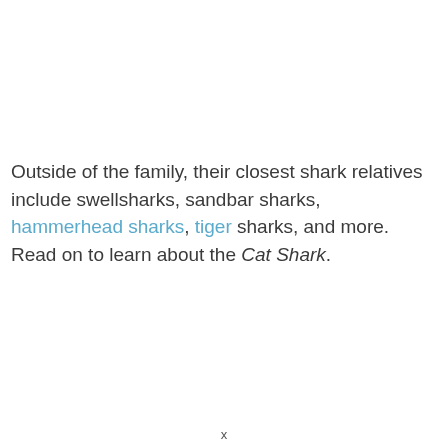Outside of the family, their closest shark relatives include swellsharks, sandbar sharks, hammerhead sharks, tiger sharks, and more. Read on to learn about the Cat Shark.
x